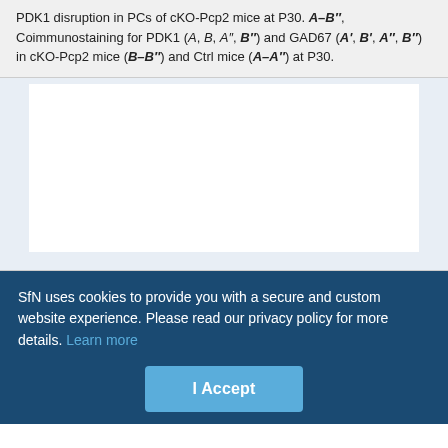PDK1 disruption in PCs of cKO-Pcp2 mice at P30. A–B″, Coimmunostaining for PDK1 (A, B, A″, B″) and GAD67 (A', B', A″, B″) in cKO-Pcp2 mice (B–B″) and Ctrl mice (A–A″) at P30.
[Figure (photo): Blank white figure panel placeholder for microscopy/immunostaining images]
SfN uses cookies to provide you with a secure and custom website experience. Please read our privacy policy for more details. Learn more